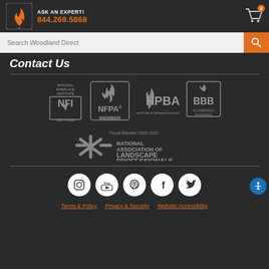ASK AN EXPERT! 844.269.5868
Search Woodland Direct
Contact Us
[Figure (logo): Membership and certification logos: NFI Certified, NFPA Member, HPBA, BBB Accredited Business, National Association of Landscape Professionals Proud Member 2020-2021]
[Figure (infographic): Social media icons: Instagram, YouTube, Pinterest, Facebook, Twitter]
Terms & Policy   Privacy & Security   Website Accessibility